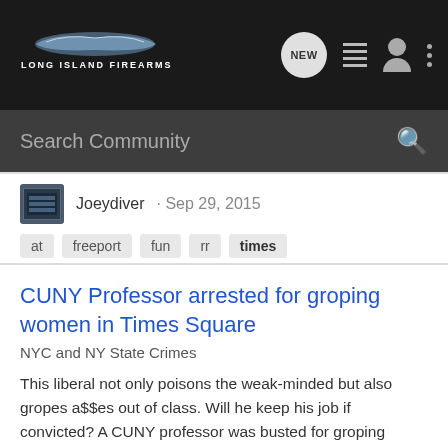Long Island Firearms — navigation bar with logo, NEW button, list icon, user icon, dots icon
Search Community
Joeydiver · Sep 29, 2015
at  freeport  fun  rr  times
CUNY Professor arrested for groping women in Times Square
NYC and NY State Crimes
This liberal not only poisons the weak-minded but also gropes a$$es out of class. Will he keep his job if convicted? A CUNY professor was busted for groping women in Times Square over the weekend, cops said. Chemistry instructor Hasan Zumrut, 28, mingled amid a sea of tourists on Broadway near...